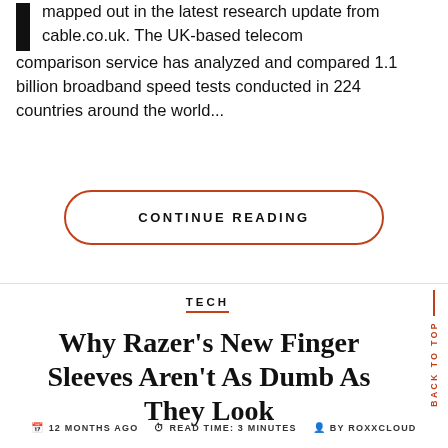mapped out in the latest research update from cable.co.uk. The UK-based telecom comparison service has analyzed and compared 1.1 billion broadband speed tests conducted in 224 countries around the world...
CONTINUE READING
TECH
Why Razer's New Finger Sleeves Aren't As Dumb As They Look
12 MONTHS AGO   READ TIME: 3 MINUTES   BY ROXXCLOUD